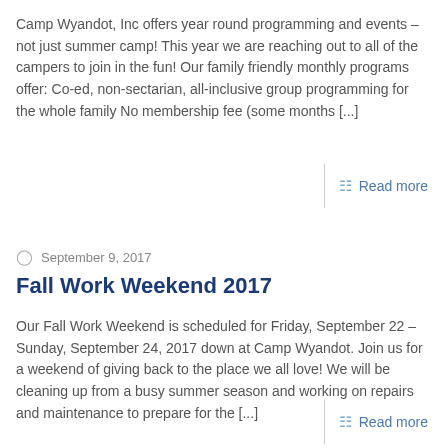Camp Wyandot, Inc offers year round programming and events – not just summer camp! This year we are reaching out to all of the campers to join in the fun! Our family friendly monthly programs offer: Co-ed, non-sectarian, all-inclusive group programming for the whole family No membership fee (some months [...]
Read more
September 9, 2017
Fall Work Weekend 2017
Our Fall Work Weekend is scheduled for Friday, September 22 – Sunday, September 24, 2017 down at Camp Wyandot. Join us for a weekend of giving back to the place we all love! We will be cleaning up from a busy summer season and working on repairs and maintenance to prepare for the [...]
Read more